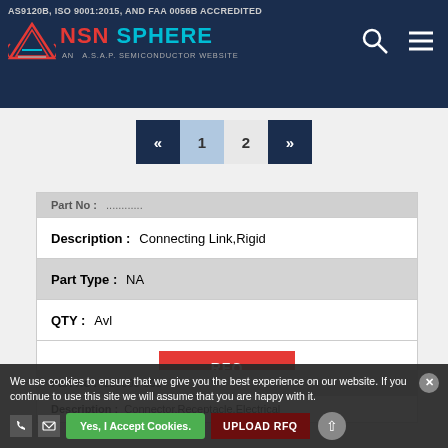AS9120B, ISO 9001:2015, AND FAA 0056B ACCREDITED — NSN SPHERE AN A.S.A.P. SEMICONDUCTOR WEBSITE
« 1 2 »
| Field | Value |
| --- | --- |
| Part No | ... |
| Description | Connecting Link,Rigid |
| Part Type | NA |
| QTY | Avl |
|  | RFQ |
| Field | Value |
| --- | --- |
| Part No | 107609-001 |
| Description | Connector,Receptacle,Electrical |
We use cookies to ensure that we give you the best experience on our website. If you continue to use this site we will assume that you are happy with it.
Yes, I Accept Cookies.
UPLOAD RFQ